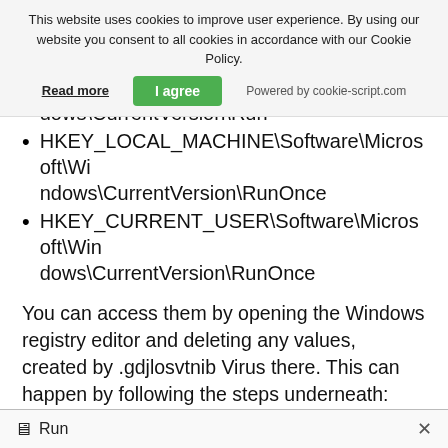This website uses cookies to improve user experience. By using our website you consent to all cookies in accordance with our Cookie Policy.
Read more | I agree | Powered by cookie-script.com
HKEY_LOCAL_MACHINE\Software\Microsoft\Windows\CurrentVersion\Run
HKEY_LOCAL_MACHINE\Software\Microsoft\Windows\CurrentVersion\RunOnce
HKEY_CURRENT_USER\Software\Microsoft\Windows\CurrentVersion\RunOnce
You can access them by opening the Windows registry editor and deleting any values, created by .gdjlosvtnib Virus there. This can happen by following the steps underneath:
1. Open the Run Window again, type "regedit" and click OK.
Run